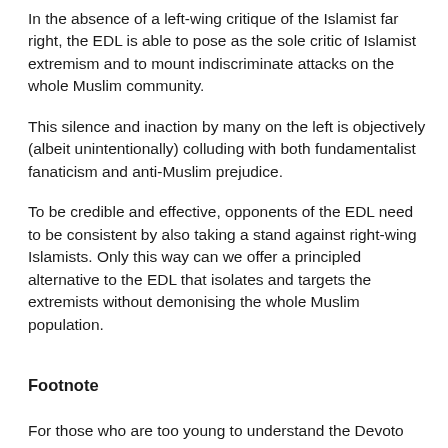In the absence of a left-wing critique of the Islamist far right, the EDL is able to pose as the sole critic of Islamist extremism and to mount indiscriminate attacks on the whole Muslim community.
This silence and inaction by many on the left is objectively (albeit unintentionally) colluding with both fundamentalist fanaticism and anti-Muslim prejudice.
To be credible and effective, opponents of the EDL need to be consistent by also taking a stand against right-wing Islamists. Only this way can we offer a principled alternative to the EDL that isolates and targets the extremists without demonising the whole Muslim population.
Footnote
For those who are too young to understand the Devoto